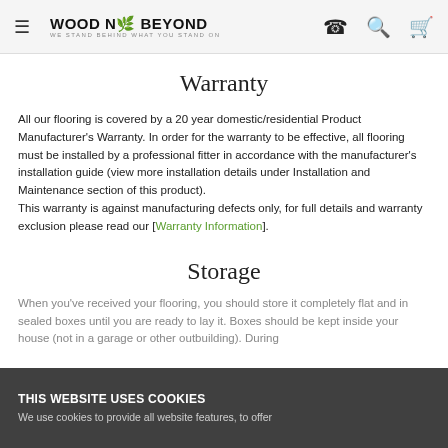WOOD N' BEYOND — WE STAND BEHIND WHAT YOU STAND ON
Warranty
All our flooring is covered by a 20 year domestic/residential Product Manufacturer's Warranty. In order for the warranty to be effective, all flooring must be installed by a professional fitter in accordance with the manufacturer's installation guide (view more installation details under Installation and Maintenance section of this product).
This warranty is against manufacturing defects only, for full details and warranty exclusion please read our [Warranty Information].
Storage
When you've received your flooring, you should store it completely flat and in sealed boxes until you are ready to lay it. Boxes should be kept inside your house (not in a garage or other outbuilding). During...
THIS WEBSITE USES COOKIES
We use cookies to provide all website features, to offer